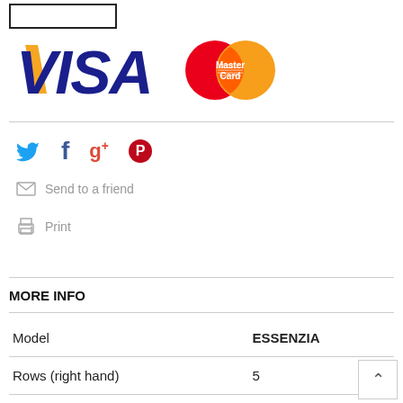[Figure (logo): Empty rectangle outline at top left, likely a product image placeholder]
[Figure (logo): VISA and MasterCard payment logos side by side]
[Figure (infographic): Social media share icons: Twitter (bird), Facebook (f), Google+ (g+), Pinterest (pin)]
Send to a friend
Print
MORE INFO
|  |  |
| --- | --- |
| Model | ESSENZIA |
| Rows (right hand) | 5 |
| Buttons (right hand) | 87 |